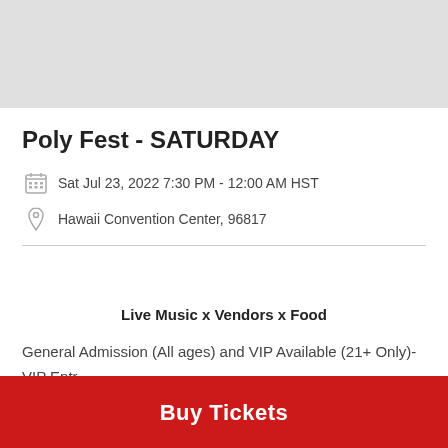[Figure (photo): Light gray banner image at top of page]
Poly Fest - SATURDAY
Sat Jul 23, 2022 7:30 PM - 12:00 AM HST
Hawaii Convention Center, 96817
Live Music x Vendors x Food
General Admission (All ages) and VIP Available (21+ Only)-
VIP Entr...
Buy Tickets